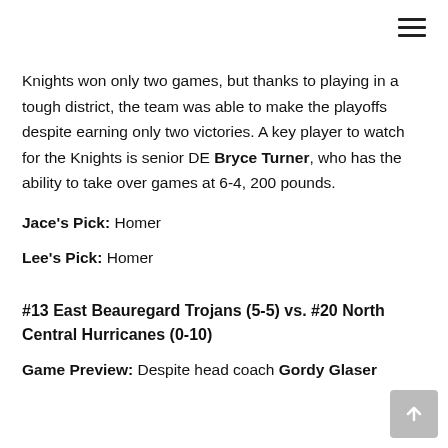Knights won only two games, but thanks to playing in a tough district, the team was able to make the playoffs despite earning only two victories. A key player to watch for the Knights is senior DE Bryce Turner, who has the ability to take over games at 6-4, 200 pounds.
Jace's Pick: Homer
Lee's Pick: Homer
#13 East Beauregard Trojans (5-5) vs. #20 North Central Hurricanes (0-10)
Game Preview: Despite head coach Gordy Glaser